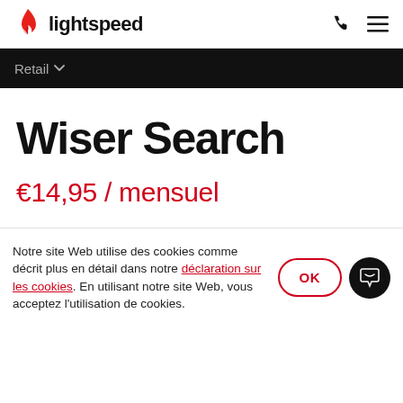[Figure (logo): Lightspeed logo with red flame icon and 'lightspeed' wordmark in bold black]
Retail ▾
Wiser Search
€14,95 / mensuel
Notre site Web utilise des cookies comme décrit plus en détail dans notre déclaration sur les cookies. En utilisant notre site Web, vous acceptez l'utilisation de cookies.